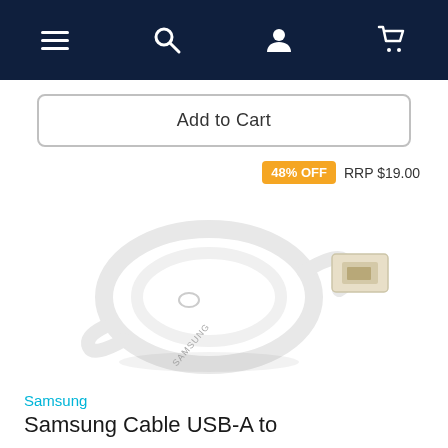Navigation bar with menu, search, user, and cart icons
Add to Cart
48% OFF  RRP $19.00
[Figure (photo): Samsung USB-A to USB-C cable coiled in white color with USB-A connector visible on the right side]
Samsung
Samsung Cable USB-A to